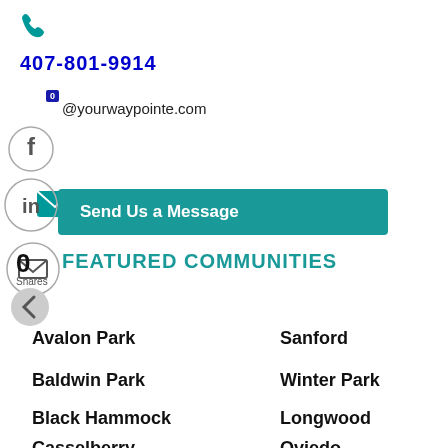[Figure (illustration): Teal phone icon]
407-801-9914
[Figure (illustration): Teal email/envelope icon]
0
@yourwaypointe.com
[Figure (illustration): Facebook circle icon]
[Figure (illustration): LinkedIn circle icon]
Send Us a Message
[Figure (illustration): Email circle icon]
0
Shares
FEATURED COMMUNITIES
[Figure (illustration): Left arrow navigation button]
Avalon Park
Sanford
Baldwin Park
Winter Park
Black Hammock
Longwood
Casselberry
Oviedo